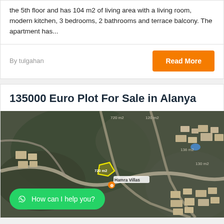the 5th floor and has 104 m2 of living area with a living room, modern kitchen, 3 bedrooms, 2 bathrooms and terrace balcony. The apartment has...
By tulgahan
Read More
135000 Euro Plot For Sale in Alanya
[Figure (map): Aerial satellite map view of a plot for sale in Alanya, Turkey. A yellow-outlined plot is highlighted in the center with a label reading '720 m2' and 'Hamra Villas' nearby. Several road labels and parcel numbers are visible.]
How can I help you?